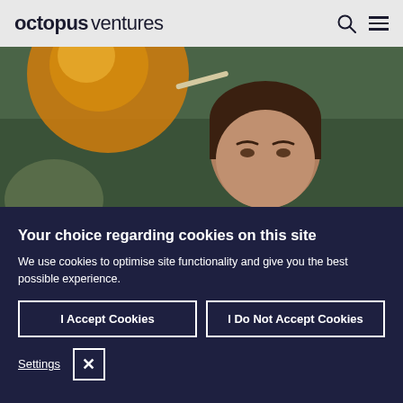octopus ventures
[Figure (photo): Photograph of a man partially visible behind a blurred orange spherical lamp, against a dark green background]
Your choice regarding cookies on this site
We use cookies to optimise site functionality and give you the best possible experience.
I Accept Cookies
I Do Not Accept Cookies
Settings